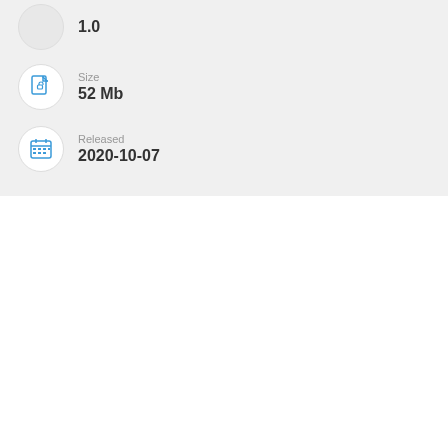1.0
Size
52 Mb
Released
2020-10-07